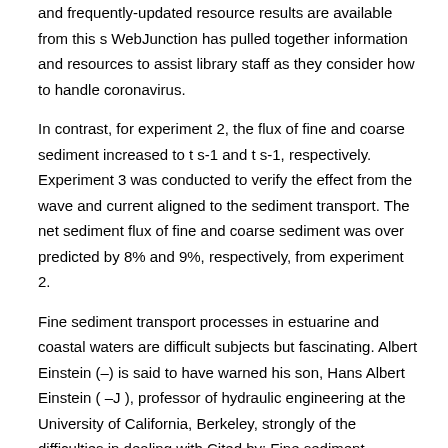and frequently-updated resource results are available from this s WebJunction has pulled together information and resources to assist library staff as they consider how to handle coronavirus.
In contrast, for experiment 2, the flux of fine and coarse sediment increased to t s-1 and t s-1, respectively. Experiment 3 was conducted to verify the effect from the wave and current aligned to the sediment transport. The net sediment flux of fine and coarse sediment was over predicted by 8% and 9%, respectively, from experiment 2.
Fine sediment transport processes in estuarine and coastal waters are difficult subjects but fascinating. Albert Einstein (–) is said to have warned his son, Hans Albert Einstein ( –J ), professor of hydraulic engineering at the University of California, Berkeley, strongly of the difficulties in dealing with Cited by: Fine sediment transport processes in estuarine and coastal waters are difficult subjects but fascinating.
Albert Einstein (–) is said to have warned his son, Hans Albert Einstein ( –J ), professor of hydraulic engineering at the University of California, Berkeley, strongly of the difficulties in dealing with. A practical guide to the latest remote and in situ techniques used to